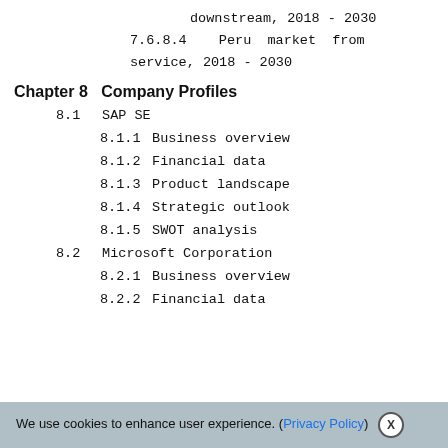downstream, 2018 - 2030
7.6.8.4    Peru  market  from  service, 2018 - 2030
Chapter 8   Company Profiles
8.1   SAP SE
8.1.1   Business overview
8.1.2   Financial data
8.1.3   Product landscape
8.1.4   Strategic outlook
8.1.5   SWOT analysis
8.2   Microsoft Corporation
8.2.1   Business overview
8.2.2   Financial data
We use cookies to enhance user experience. (Privacy Policy) X